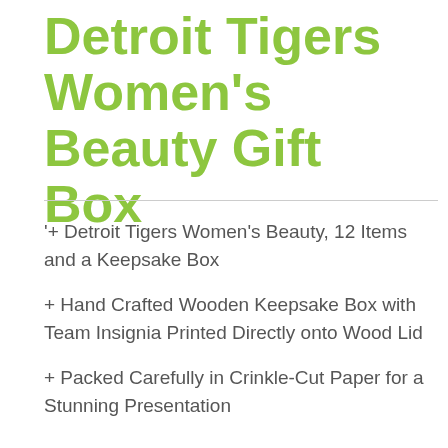Detroit Tigers Women's Beauty Gift Box
'+ Detroit Tigers Women's Beauty, 12 Items and a Keepsake Box
+ Hand Crafted Wooden Keepsake Box with Team Insignia Printed Directly onto Wood Lid
+ Packed Carefully in Crinkle-Cut Paper for a Stunning Presentation